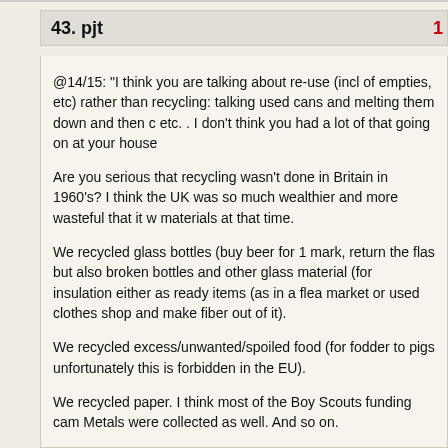43. pjt
@14/15: “I think you are talking about re-use (incl of empties, etc) rather than recycling: talking used cans and melting them down and then casting new items etc. . I don’t think you had a lot of that going on at your house
Are you serious that recycling wasn’t done in Britain in 1960’s? I think the UK was so much wealthier and more wasteful that it w materials at that time.
We recycled glass bottles (buy beer for 1 mark, return the flas but also broken bottles and other glass material (for insulation either as ready items (as in a flea market or used clothes shop and make fiber out of it).
We recycled excess/unwanted/spoiled food (for fodder to pigs unfortunately this is forbidden in the EU).
We recycled paper. I think most of the Boy Scouts funding cam Metals were collected as well. And so on.